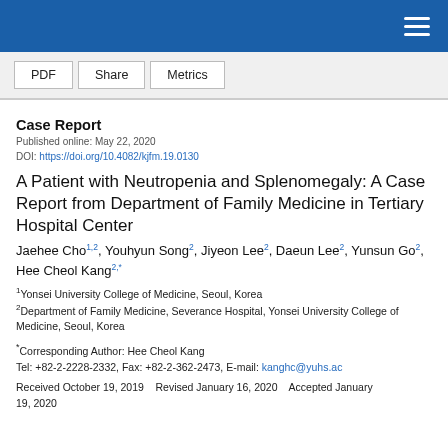navigation bar with hamburger menu
PDF | Share | Metrics
Case Report
Published online: May 22, 2020
DOI: https://doi.org/10.4082/kjfm.19.0130
A Patient with Neutropenia and Splenomegaly: A Case Report from Department of Family Medicine in Tertiary Hospital Center
Jaehee Cho1,2, Youhyun Song2, Jiyeon Lee2, Daeun Lee2, Yunsun Go2, Hee Cheol Kang2,*
1Yonsei University College of Medicine, Seoul, Korea
2Department of Family Medicine, Severance Hospital, Yonsei University College of Medicine, Seoul, Korea
*Corresponding Author: Hee Cheol Kang
Tel: +82-2-2228-2332, Fax: +82-2-362-2473, E-mail: kanghc@yuhs.ac
Received October 19, 2019    Revised January 16, 2020    Accepted January 19, 2020